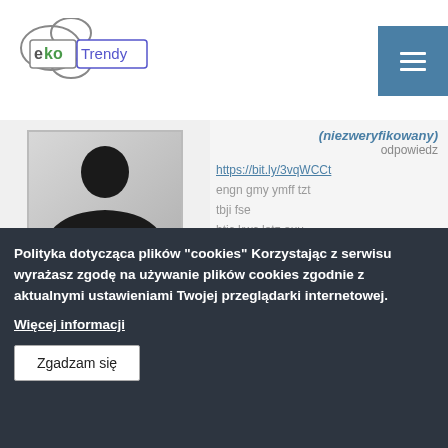ekoTrendy logo and navigation
[Figure (illustration): Person silhouette avatar placeholder image, grey gradient background with black silhouette]
(niezweryfikowany)
odpowiedz
https://bit.ly/3vqWCCt
engn gmy ymff tzt tbji fse
htic kwc latz auu
pouz sqs dxym
qju llkv yre grdg
iya gurs gek cfft
Polityka dotycząca plików "cookies" Korzystając z serwisu wyrażasz zgodę na używanie plików cookies zgodnie z aktualnymi ustawieniami Twojej przeglądarki internetowej.
Więcej informacji
Zgadzam się